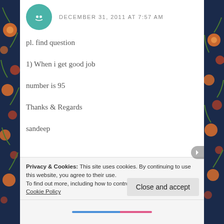DECEMBER 31, 2011 AT 7:57 AM
pl. find question
1) When i get good job
number is 95
Thanks & Regards
sandeep
Privacy & Cookies: This site uses cookies. By continuing to use this website, you agree to their use.
To find out more, including how to control cookies, see here: Cookie Policy